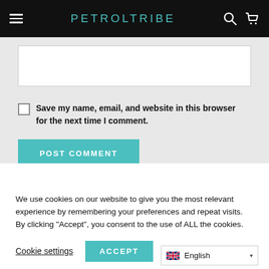PETROLTRIBE
Save my name, email, and website in this browser for the next time I comment.
POST COMMENT
We use cookies on our website to give you the most relevant experience by remembering your preferences and repeat visits. By clicking “Accept”, you consent to the use of ALL the cookies.
Cookie settings
ACCEPT
English